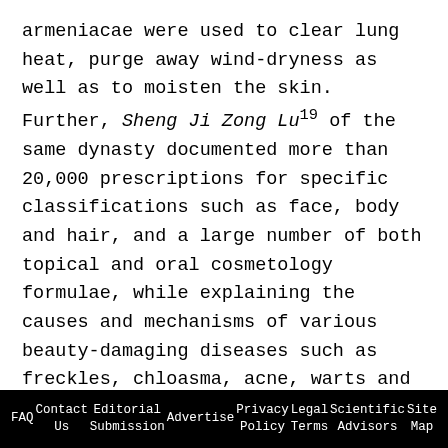armeniacae were used to clear lung heat, purge away wind-dryness as well as to moisten the skin. Further, Sheng Ji Zong Lu19 of the same dynasty documented more than 20,000 prescriptions for specific classifications such as face, body and hair, and a large number of both topical and oral cosmetology formulae, while explaining the causes and mechanisms of various beauty-damaging diseases such as freckles, chloasma, acne, warts and white scales.

The medical expert Xu,20 of the Yuan Dynasty, A.D. 1271–1368, recorded a number of TCM-based royal cosmetic nostrums from the Song through Yuan
FAQ   Contact Us   Editorial Submission   Advertise   Privacy Policy   Legal Terms   Scientific Advisors   Site Map